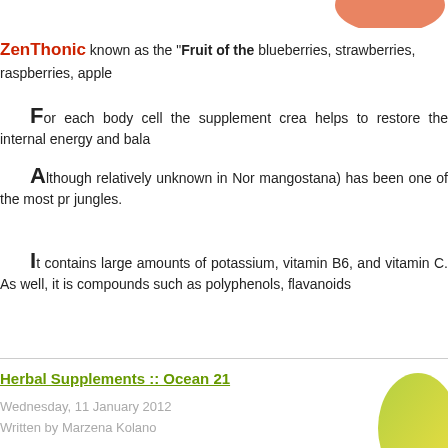[Figure (photo): Partial fruit image at top right corner]
ZenThonic known as the "Fruit of the [Gods]" blueberries, strawberries, raspberries, apple...
For each body cell the supplement crea... helps to restore the internal energy and bala...
Although relatively unknown in Nor... mangostana) has been one of the most pr... jungles.
It contains large amounts of potassium,... vitamin B6, and vitamin C. As well, it is ... compounds such as polyphenols, flavanoids...
Herbal Supplements :: Ocean 21
Wednesday, 11 January 2012
Written by Marzena Kolano
[Figure (photo): Partial bottle image at bottom right corner]